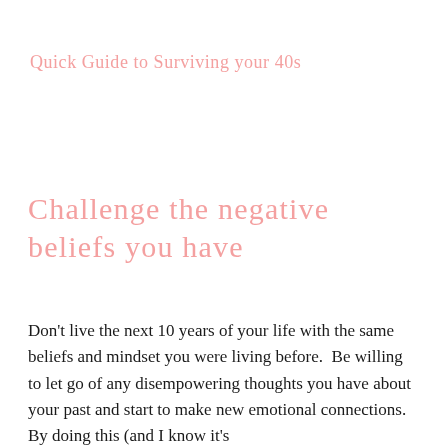Quick Guide to Surviving your 40s
Challenge the negative beliefs you have
Don't live the next 10 years of your life with the same beliefs and mindset you were living before.  Be willing to let go of any disempowering thoughts you have about your past and start to make new emotional connections. By doing this (and I know it's